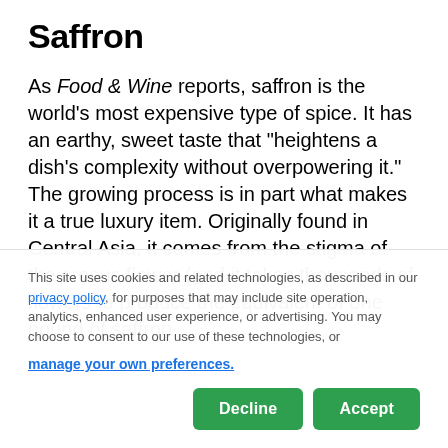Saffron
As Food & Wine reports, saffron is the world’s most expensive type of spice. It has an earthy, sweet taste that “heightens a dish’s complexity without overpowering it.” The growing process is in part what makes it a true luxury item. Originally found in Central Asia, it comes from the stigma of the crocus flower (and it takes thousands of flowers to produce the equivalent of one pound of saffron
This site uses cookies and related technologies, as described in our privacy policy, for purposes that may include site operation, analytics, enhanced user experience, or advertising. You may choose to consent to our use of these technologies, or manage your own preferences.
Decline
Accept